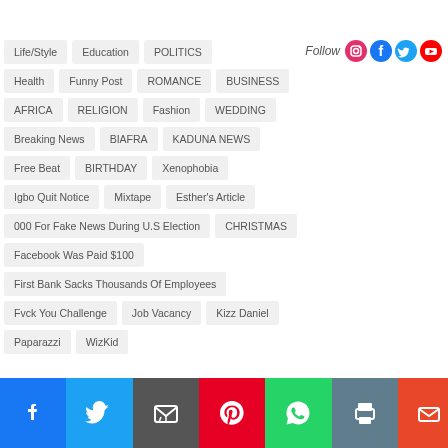Life/Style
Education
POLITICS
Health
Funny Post
ROMANCE
BUSINESS
AFRICA
RELIGION
Fashion
WEDDING
Breaking News
BIAFRA
KADUNA NEWS
Free Beat
BIRTHDAY
Xenophobia
Igbo Quit Notice
Mixtape
Esther's Article
000 For Fake News During U.S Election
CHRISTMAS
Facebook Was Paid $100
First Bank Sacks Thousands Of Employees
Fvck You Challenge
Job Vacancy
Kizz Daniel
Paparazzi
WizKid
Social share bar: Facebook, Twitter, Email, Pinterest, WhatsApp, Print, Mail